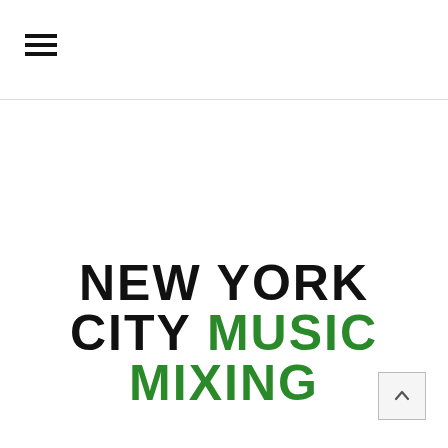[Figure (other): Hamburger menu icon (three horizontal lines) in the top-left header area]
NEW YORK CITY MUSIC MIXING